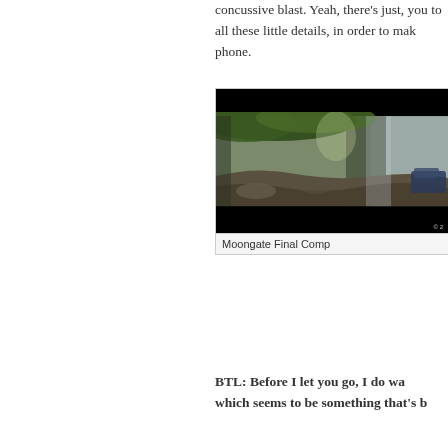concussive blast. Yeah, there's just, you to all these little details, in order to make phone.
[Figure (photo): Film production still or VFX composite image showing a forest scene with waterfall, rocky terrain, and a vehicle in the lower right. Black bars at top and bottom. Labeled 'Moongate Final Comp'.]
Moongate Final Comp
BTL: Before I let you go, I do wa which seems to be something that's b